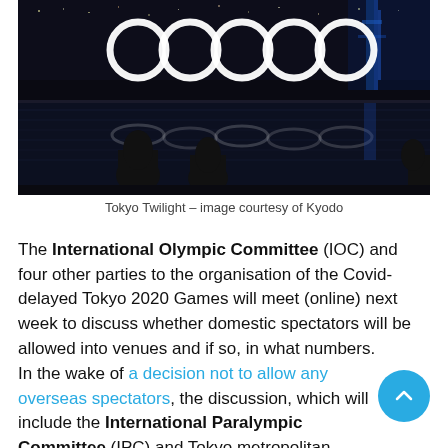[Figure (photo): Nighttime photo of the Olympic rings illuminated in white against a dark sky, reflected in water below, with silhouettes of two people in the foreground and a blue-lit bridge visible in the background.]
Tokyo Twilight – image courtesy of Kyodo
The International Olympic Committee (IOC) and four other parties to the organisation of the Covid-delayed Tokyo 2020 Games will meet (online) next week to discuss whether domestic spectators will be allowed into venues and if so, in what numbers.
In the wake of a decision not to allow any overseas spectators, the discussion, which will include the International Paralympic Committee (IPC) and Tokyo metropolitan governments, will focus on whether it is safe to allow any audiences at all, and if